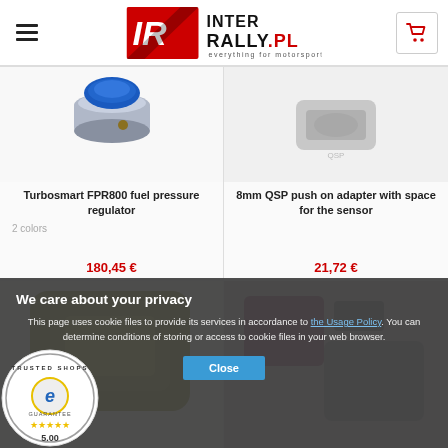[Figure (logo): InterRally.pl logo with IR emblem and 'everything for motorsport' tagline]
[Figure (photo): Turbosmart FPR800 fuel pressure regulator product image - blue metal cap]
Turbosmart FPR800 fuel pressure regulator
2 colors
180,45 €
[Figure (photo): 8mm QSP push on adapter with space for the sensor product image - grey blurred background]
8mm QSP push on adapter with space for the sensor
21,72 €
We care about your privacy
This page uses cookie files to provide its services in accordance to the Usage Policy. You can determine conditions of storing or access to cookie files in your web browser.
[Figure (logo): Trusted Shops guarantee badge with star rating 5.00]